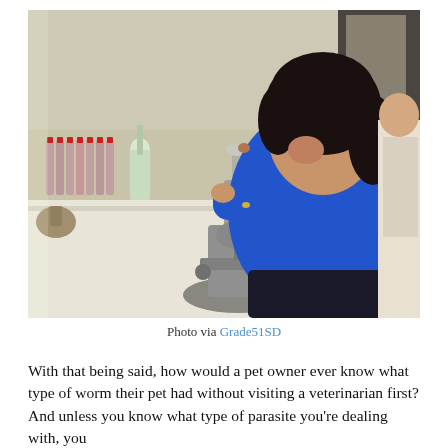[Figure (photo): A woman in a blue top bending over a microscope in a laboratory setting, with various lab bottles and vials visible on the white bench in the background.]
Photo via Grade51SD
With that being said, how would a pet owner ever know what type of worm their pet had without visiting a veterinarian first? And unless you know what type of parasite you're dealing with, you